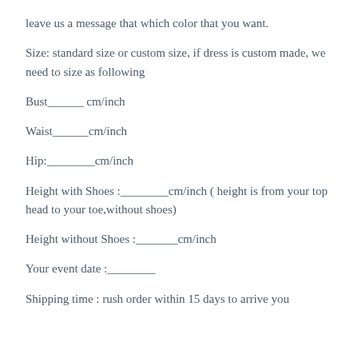leave us a message that which color that you want.
Size: standard size or custom size, if dress is custom made, we need to size as following
Bust______ cm/inch
Waist______cm/inch
Hip:________cm/inch
Height with Shoes :________cm/inch ( height is from your top head to your toe,without shoes)
Height without Shoes :_______cm/inch
Your event date :________
Shipping time : rush order within 15 days to arrive you